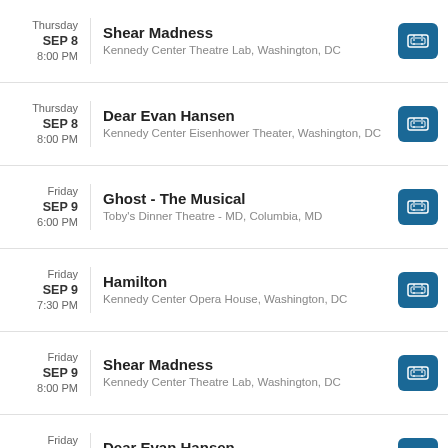Thursday SEP 8 8:00 PM | Shear Madness | Kennedy Center Theatre Lab, Washington, DC
Thursday SEP 8 8:00 PM | Dear Evan Hansen | Kennedy Center Eisenhower Theater, Washington, DC
Friday SEP 9 6:00 PM | Ghost - The Musical | Toby's Dinner Theatre - MD, Columbia, MD
Friday SEP 9 7:30 PM | Hamilton | Kennedy Center Opera House, Washington, DC
Friday SEP 9 8:00 PM | Shear Madness | Kennedy Center Theatre Lab, Washington, DC
Friday SEP 9 8:00 PM | Dear Evan Hansen | Kennedy Center Eisenhower Theater, Washington, DC
Saturday ...